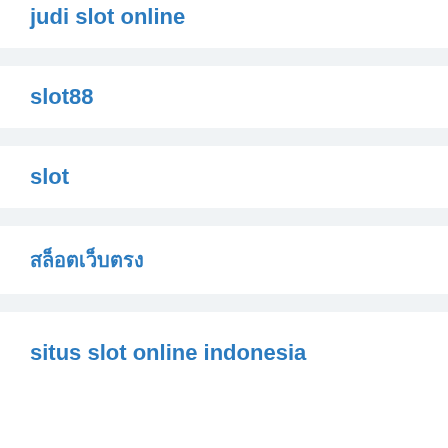judi slot online
slot88
slot
สล็อตเว็บตรง
situs slot online indonesia